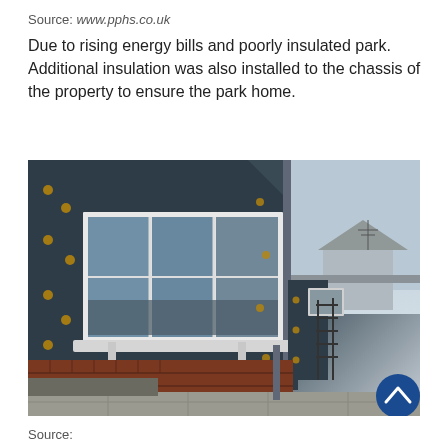Source: www.pphs.co.uk
Due to rising energy bills and poorly insulated park. Additional insulation was also installed to the chassis of the property to ensure the park home.
[Figure (photo): Exterior photograph of a park home with dark insulated cladding showing circular fixing points across the wall surface, white UPVC triple window, white window sill brackets, brick base course, metal railings, and a neighbouring property visible in the background under a partly cloudy sky.]
Source: